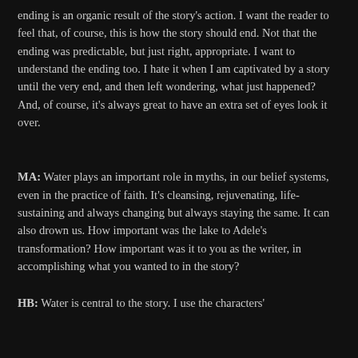ending is an organic result of the story's action. I want the reader to feel that, of course, this is how the story should end. Not that the ending was predictable, but just right, appropriate. I want to understand the ending too. I hate it when I am captivated by a story until the very end, and then left wondering, what just happened? And, of course, it's always great to have an extra set of eyes look it over.
MA: Water plays an important role in myths, in our belief systems, even in the practice of faith. It's cleansing, rejuvenating, life-sustaining and always changing but always staying the same. It can also drown us. How important was the lake to Adele's transformation? How important was it to you as the writer, in accomplishing what you wanted to in the story?
HB: Water is central to the story. I use the characters'